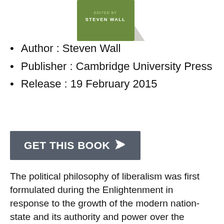[Figure (illustration): Book cover thumbnail showing a green-covered book with 'STEVEN WALL' text, with a curled page corner effect]
Author : Steven Wall
Publisher : Cambridge University Press
Release : 19 February 2015
GET THIS BOOK →
The political philosophy of liberalism was first formulated during the Enlightenment in response to the growth of the modern nation-state and its authority and power over the individuals living within its boundaries. Liberalism is now the dominant ideology in the Western world, but it covers a broad swathe of different (and sometimes rival) ideas and traditions and its essential features can be hard to define. The